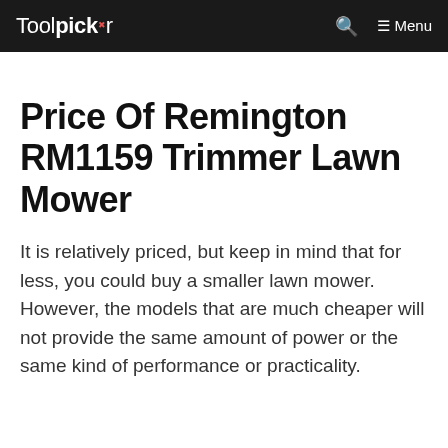Toolpickr — Menu
Price Of Remington RM1159 Trimmer Lawn Mower
It is relatively priced, but keep in mind that for less, you could buy a smaller lawn mower. However, the models that are much cheaper will not provide the same amount of power or the same kind of performance or practicality.